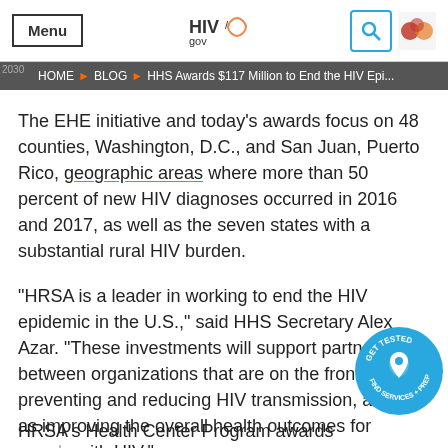Menu | HIV.gov | [search icon] [logo icon]
HOME > BLOG > HHS Awards $117 Million to End the HIV Epi...
The EHE initiative and today's awards focus on 48 counties, Washington, D.C., and San Juan, Puerto Rico, geographic areas where more than 50 percent of new HIV diagnoses occurred in 2016 and 2017, as well as the seven states with a substantial rural HIV burden.
"HRSA is a leader in working to end the HIV epidemic in the U.S.," said HHS Secretary Alex Azar. "These investments will support partnerships between organizations that are on the front lines of preventing and reducing HIV transmission, as well as improving the overall health outcomes for people with HIV."
HRSA's Health Center Program awards will be used to